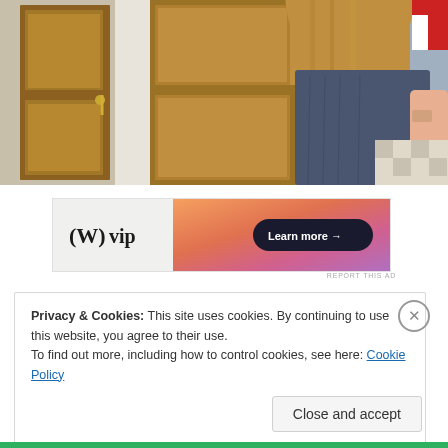[Figure (photo): Photo showing the back of a woman with long blonde hair wearing a dark blue linen short-sleeve top, standing in what appears to be a hallway with dark wooden doors on the left side and a checkered floor visible in the background on the right. A red and white striped flag or object is partially visible in the upper right corner.]
[Figure (infographic): Advertisement banner for WordPress VIP service. Left side shows 'W vip' logo text in black on light background. Right side has a gradient background (orange/pink/purple) with a dark pill-shaped button reading 'Learn more →'.]
REPORT THIS AD
Privacy & Cookies: This site uses cookies. By continuing to use this website, you agree to their use.
To find out more, including how to control cookies, see here: Cookie Policy
Close and accept